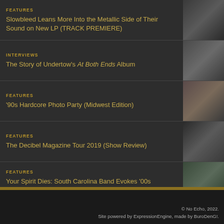FEATURES – Slowbleed Leans More Into the Metallic Side of Their Sound on New LP (TRACK PREMIERE)
INTERVIEWS – The Story of Undertow's At Both Ends Album
FEATURES – '90s Hardcore Photo Party (Midwest Edition)
FEATURES – The Decibel Magazine Tour 2019 (Show Review)
FEATURES – Your Spirit Dies: South Carolina Band Evokes '00s Metalcore Vibe on "Bound to Nothing"
© No Echo, 2022. Site powered by ExpressionEngine, made by BuroDenG!.